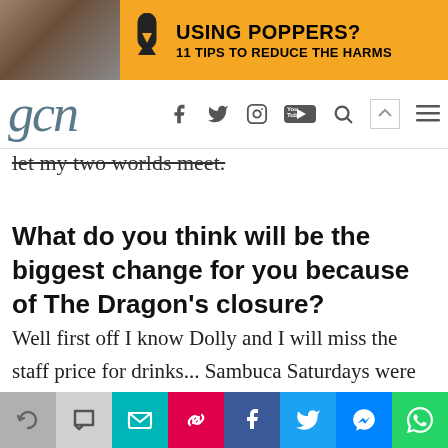[Figure (other): Advertisement banner with orange background showing two men and text 'USING POPPERS? 11 TIPS TO REDUCE THE HARMS']
gcn (logo) with social media icons: Facebook, Twitter, Instagram, YouTube, Search, Menu
let my two worlds meet.
What do you think will be the biggest change for you because of The Dragon's closure?
Well first off I know Dolly and I will miss the staff price for drinks... Sambuca Saturdays were legendary (laughs)! I think it could change the whole scene, we might see more one-nighters
[Figure (other): Bottom share toolbar with icons: arc/history, comment, email, link, Facebook, Twitter, Messenger, WhatsApp]